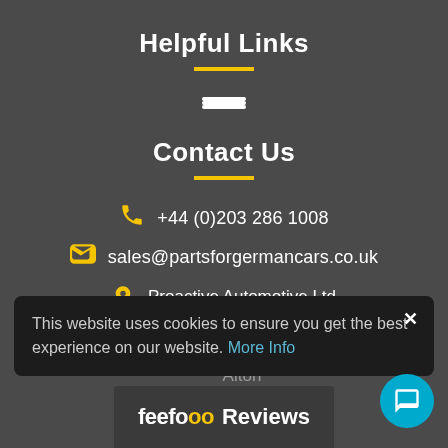Helpful Links
Contact Us
+44 (0)203 286 1008
sales@partsforgermancars.co.uk
Proactive Automotive Ltd
Market House
21 Lenten Street
Alton
Hampshire
GU34 1HS
This website uses cookies to ensure you get the best experience on our website. More Info
feefo Reviews